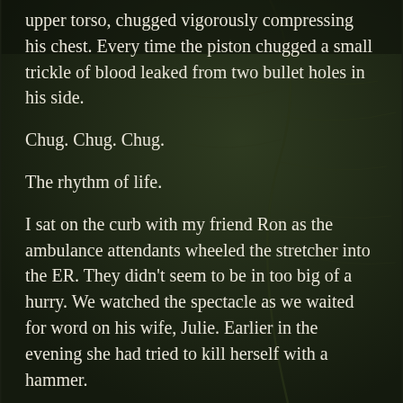upper torso, chugged vigorously compressing his chest. Every time the piston chugged a small trickle of blood leaked from two bullet holes in his side.
Chug. Chug. Chug.
The rhythm of life.
I sat on the curb with my friend Ron as the ambulance attendants wheeled the stretcher into the ER. They didn't seem to be in too big of a hurry. We watched the spectacle as we waited for word on his wife, Julie. Earlier in the evening she had tried to kill herself with a hammer.
A hammer.